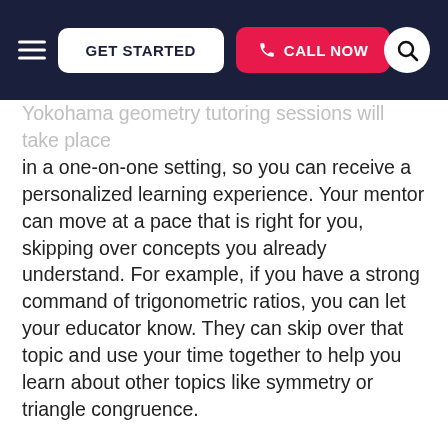GET STARTED | CALL NOW
Yokohama geometry tutoring sessions will take place in a one-on-one setting, so you can receive a personalized learning experience. Your mentor can move at a pace that is right for you, skipping over concepts you already understand. For example, if you have a strong command of trigonometric ratios, you can let your educator know. They can skip over that topic and use your time together to help you learn about other topics like symmetry or triangle congruence.
When you first meet with a Yokohama geometry tutor, they can put together a plan to help you learn about topics ranging from the law of sines to arc measure using methods that accommodate your educational needs. For example, private instructors can use customized learning materials throughout geometry